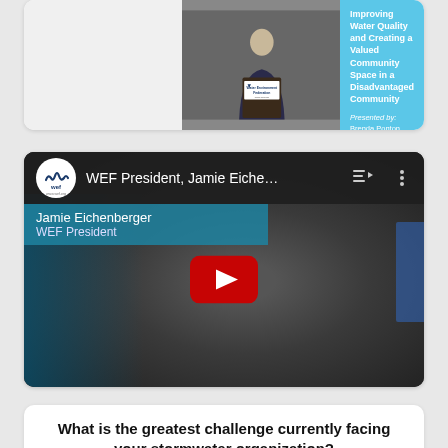[Figure (screenshot): Top card with a photo of a speaker at a Water Environment Federation podium on the left, and a blue slide on the right showing a presentation title about improving water quality and a community space in a disadvantaged community, presented by Brenda Ponton, Woodard & Curran, June 26, 2022.]
[Figure (screenshot): YouTube video embed showing WEF President Jamie Eichenberger speaking at a conference. The video player shows the WEF logo, the title 'WEF President, Jamie Eiche...', playlist and more icons in the top bar. The video shows a man in a suit with a lower-third name bar reading 'Jamie Eichenberger / WEF President'. A large red YouTube play button is centered over the video.]
What is the greatest challenge currently facing your stormwater organization?
Funding or availability of capital